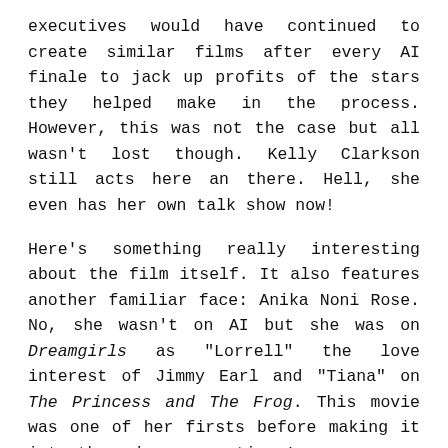executives would have continued to create similar films after every AI finale to jack up profits of the stars they helped make in the process. However, this was not the case but all wasn't lost though. Kelly Clarkson still acts here an there. Hell, she even has her own talk show now!
Here's something really interesting about the film itself. It also features another familiar face: Anika Noni Rose. No, she wasn't on AI but she was on Dreamgirls as "Lorrell" the love interest of Jimmy Earl and "Tiana" on The Princess and The Frog. This movie was one of her firsts before making it into these huge sensations!
As far as the music goes, there is a lot of sass in the movie, and luckily the music runs right with it. I have always loved revenge songs, and there are two songs that are all about revenge and maybe even a little showoff-y too. There is